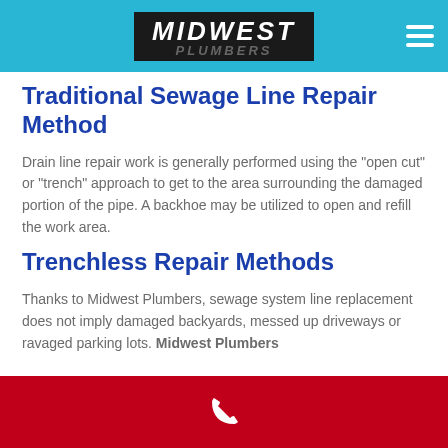MIDWEST PLUMBERS
Traditional Sewage Line Repair Method
Drain line repair work is generally performed using the "open cut" or "trench" approach to get to the area surrounding the damaged portion of the pipe. A backhoe may be utilized to open and refill the work area.
Trenchless Repair Methods
Thanks to Midwest Plumbers, sewage system line replacement does not imply damaged backyards, messed up driveways or ravaged parking lots. Midwest Plumbers
Phone icon